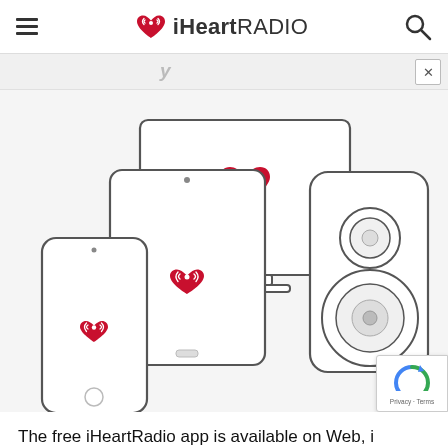iHeartRADIO
[Figure (illustration): iHeartRadio devices illustration showing a smartphone, tablet, desktop monitor (all with the iHeart logo), and a speaker, on a light gray background. A modal close button (×) is visible at the top.]
The free iHeartRadio app is available on Web, i Android, Alexa, automobiles and more.